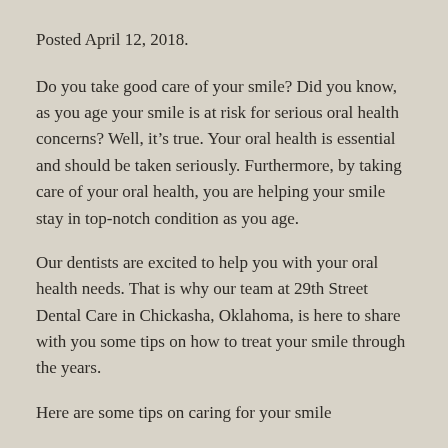Posted April 12, 2018.
Do you take good care of your smile? Did you know, as you age your smile is at risk for serious oral health concerns? Well, it’s true. Your oral health is essential and should be taken seriously. Furthermore, by taking care of your oral health, you are helping your smile stay in top-notch condition as you age.
Our dentists are excited to help you with your oral health needs. That is why our team at 29th Street Dental Care in Chickasha, Oklahoma, is here to share with you some tips on how to treat your smile through the years.
Here are some tips on caring for your smile